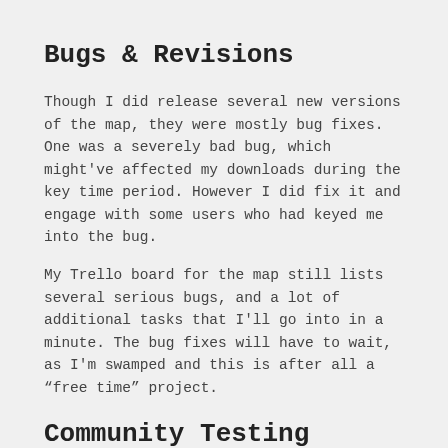Bugs & Revisions
Though I did release several new versions of the map, they were mostly bug fixes. One was a severely bad bug, which might've affected my downloads during the key time period. However I did fix it and engage with some users who had keyed me into the bug.
My Trello board for the map still lists several serious bugs, and a lot of additional tasks that I'll go into in a minute. The bug fixes will have to wait, as I'm swamped and this is after all a “free time” project.
Community Testing
One thing that I will add to my process in the future is to facilitate playtesting with the community in a more open way. Mapcore has a dedicated testing time set up which I plan to